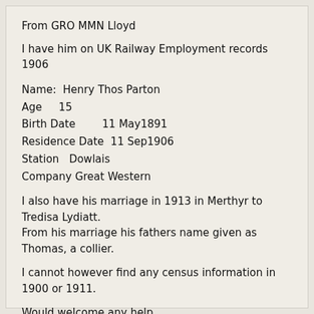From GRO MMN Lloyd
I have him on UK Railway Employment records 1906
Name:  Henry Thos Parton
Age      15
Birth Date         11 May1891
Residence Date  11 Sep1906
Station   Dowlais
Company Great Western
I also have his marriage in 1913 in Merthyr to Tredisa Lydiatt.
From his marriage his fathers name given as Thomas, a collier.
I cannot however find any census information in 1900 or 1911.
Would welcome any help
Ray